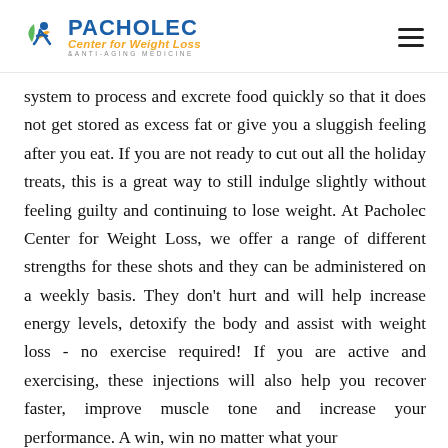PACHOLEC Center for Weight Loss & Anti-Aging Medicine
system to process and excrete food quickly so that it does not get stored as excess fat or give you a sluggish feeling after you eat. If you are not ready to cut out all the holiday treats, this is a great way to still indulge slightly without feeling guilty and continuing to lose weight. At Pacholec Center for Weight Loss, we offer a range of different strengths for these shots and they can be administered on a weekly basis. They don't hurt and will help increase energy levels, detoxify the body and assist with weight loss - no exercise required! If you are active and exercising, these injections will also help you recover faster, improve muscle tone and increase your performance. A win, win no matter what your